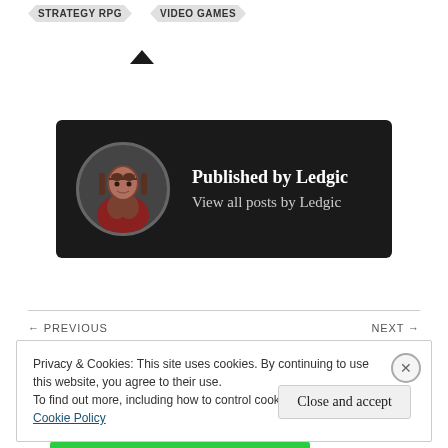STRATEGY RPG
VIDEO GAMES
[Figure (photo): Author card with circular profile photo of a man in a dark background, with text 'Published by Ledgic' and 'View all posts by Ledgic']
Published by Ledgic
View all posts by Ledgic
← PREVIOUS
Game Review – Resident Evil HD Remastered.
NEXT →
My Top 5 reasons to take up gaming as a hobby!
Privacy & Cookies: This site uses cookies. By continuing to use this website, you agree to their use.
To find out more, including how to control cookies, see here: Cookie Policy
Close and accept